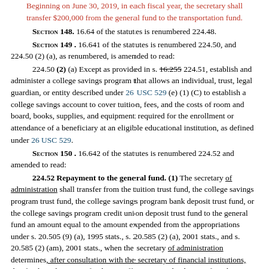Beginning on June 30, 2019, in each fiscal year, the secretary shall transfer $200,000 from the general fund to the transportation fund.
Section 148. 16.64 of the statutes is renumbered 224.48.
Section 149. 16.641 of the statutes is renumbered 224.50, and 224.50 (2) (a), as renumbered, is amended to read:
224.50 (2) (a) Except as provided in s. 16.255 224.51, establish and administer a college savings program that allows an individual, trust, legal guardian, or entity described under 26 USC 529 (e) (1) (C) to establish a college savings account to cover tuition, fees, and the costs of room and board, books, supplies, and equipment required for the enrollment or attendance of a beneficiary at an eligible educational institution, as defined under 26 USC 529.
Section 150. 16.642 of the statutes is renumbered 224.52 and amended to read:
224.52 Repayment to the general fund. (1) The secretary of administration shall transfer from the tuition trust fund, the college savings program trust fund, the college savings program bank deposit trust fund, or the college savings program credit union deposit trust fund to the general fund an amount equal to the amount expended from the appropriations under s. 20.505 (9) (a), 1995 stats., s. 20.585 (2) (a), 2001 stats., and s. 20.585 (2) (am), 2001 stats., when the secretary of administration determines, after consultation with the secretary of financial institutions, that funds in those trust funds are sufficient to make the transfer. The secretary of administration may make the transfer in installme